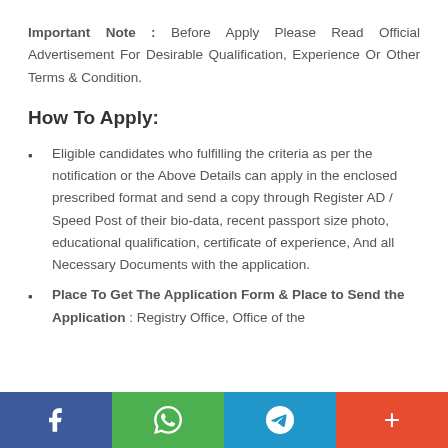Important Note : Before Apply Please Read Official Advertisement For Desirable Qualification, Experience Or Other Terms & Condition.
How To Apply:
Eligible candidates who fulfilling the criteria as per the notification or the Above Details can apply in the enclosed prescribed format and send a copy through Register AD / Speed Post of their bio-data, recent passport size photo, educational qualification, certificate of experience, And all Necessary Documents with the application.
Place To Get The Application Form & Place to Send the Application : Registry Office, Office of the